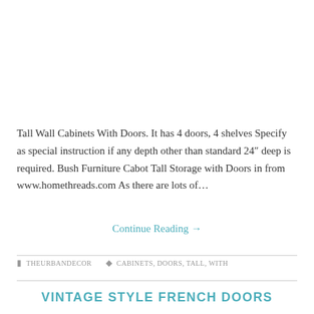Tall Wall Cabinets With Doors. It has 4 doors, 4 shelves Specify as special instruction if any depth other than standard 24" deep is required. Bush Furniture Cabot Tall Storage with Doors in from www.homethreads.com As there are lots of…
Continue Reading →
THEURBANDECOR   CABINETS, DOORS, TALL, WITH
VINTAGE STYLE FRENCH DOORS